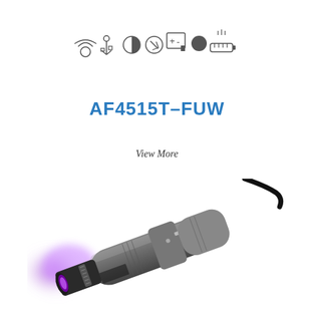[Figure (illustration): Row of feature icons: wireless signal, USB, contrast/brightness, stylus/pen, exposure compensation, filled circle/dot, ruler/scale bar]
AF4515T-FUW
View More
[Figure (photo): Handheld digital microscope device (AF4515T-FUW) emitting purple/UV light from the lens end, shown at an angle with USB cable attached, gray body with black lens cap]